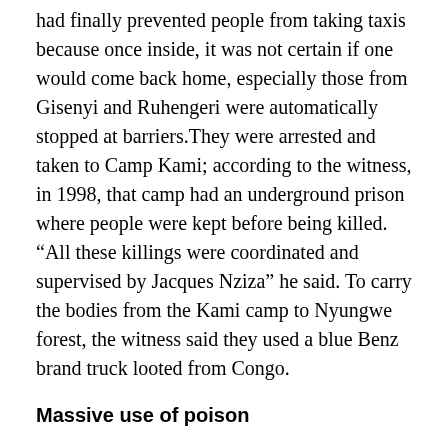had finally prevented people from taking taxis because once inside, it was not certain if one would come back home, especially those from Gisenyi and Ruhengeri were automatically stopped at barriers.They were arrested and taken to Camp Kami; according to the witness, in 1998, that camp had an underground prison where people were kept before being killed. “All these killings were coordinated and supervised by Jacques Nziza” he said. To carry the bodies from the Kami camp to Nyungwe forest, the witness said they used a blue Benz brand truck looted from Congo.
Massive use of poison
The witness also mentions the case of murder by poison. “There were also people who were murdered poisoned. The contract to supply poison was in the hands of Indira at that moment that was being reported [it]